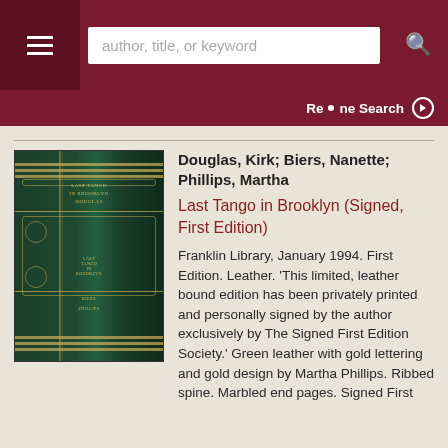author, title, or keyword
Refine Search
[Figure (photo): A green leather bound book with gold lettering and ornate gold design on the spine, standing upright against a beige background.]
Douglas, Kirk; Biers, Nanette; Phillips, Martha
Last Tango in Brooklyn (Signed, First Edition)
Franklin Library, January 1994. First Edition. Leather. 'This limited, leather bound edition has been privately printed and personally signed by the author exclusively by The Signed First Edition Society.' Green leather with gold lettering and gold design by Martha Phillips. Ribbed spine. Marbled end pages. Signed First